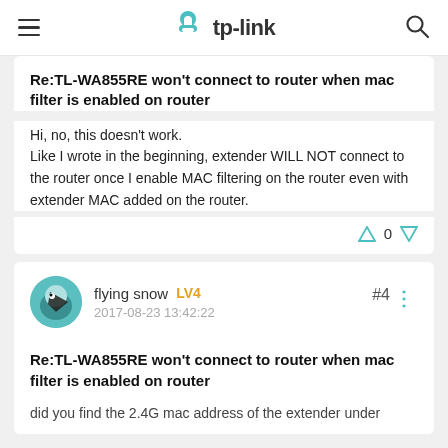tp-link
Re:TL-WA855RE won't connect to router when mac filter is enabled on router
Hi, no, this doesn't work.
Like I wrote in the beginning, extender WILL NOT connect to the router once I enable MAC filtering on the router even with extender MAC added on the router.
flying snow LV4
2017-08-23 13:42:22
#4
Re:TL-WA855RE won't connect to router when mac filter is enabled on router
did you find the 2.4G mac address of the extender under